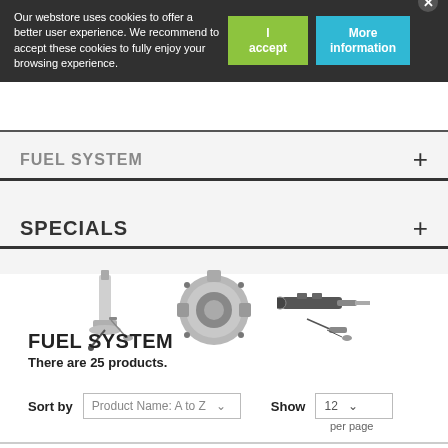Our webstore uses cookies to offer a better user experience. We recommend to accept these cookies to fully enjoy your browsing experience.
FUEL SYSTEM
SPECIALS
[Figure (photo): Three automotive fuel system parts: a fuel pump module, a throttle body, and a fuel injector with kit]
FUEL SYSTEM
There are 25 products.
Sort by  Product Name: A to Z    Show  12   per page